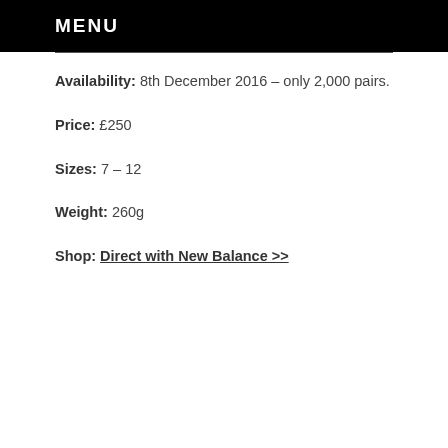MENU
Availability: 8th December 2016 – only 2,000 pairs.
Price: £250
Sizes: 7 – 12
Weight: 260g
Shop: Direct with New Balance >>